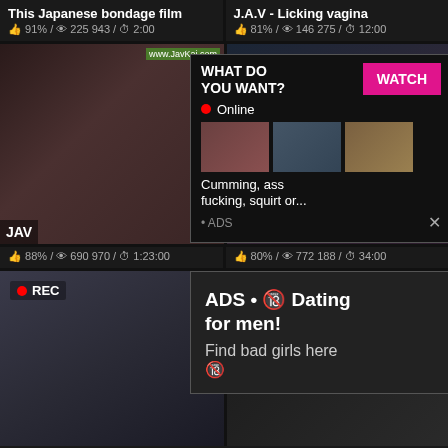This Japanese bondage film
👍 91% / 👁 225 943 / ⏱ 2:00
J.A.V - Licking vagina
👍 81% / 👁 146 275 / ⏱ 12:00
[Figure (screenshot): Video thumbnail grid with popup ad overlay showing WHAT DO YOU WANT? / WATCH button / Online status / thumbnail previews / Cumming, ass fucking, squirt or... / ADS]
JAV
👍 88% / 👁 690 970 / ⏱ 1:23:00
👍 80% / 👁 772 188 / ⏱ 34:00
[Figure (screenshot): REC overlay selfie video thumbnail]
ADS • 🔞 Dating for men! Find bad girls here 🔞